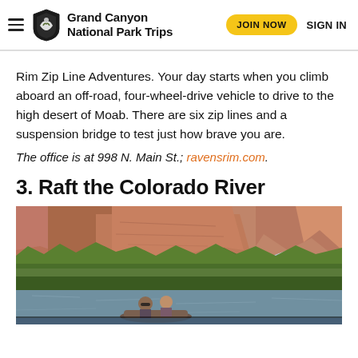Grand Canyon National Park Trips
Rim Zip Line Adventures. Your day starts when you climb aboard an off-road, four-wheel-drive vehicle to drive to the high desert of Moab. There are six zip lines and a suspension bridge to test just how brave you are.
The office is at 998 N. Main St.; ravensrim.com.
3. Raft the Colorado River
[Figure (photo): Photo of two people rafting on the Colorado River with red canyon cliffs and green trees in the background]